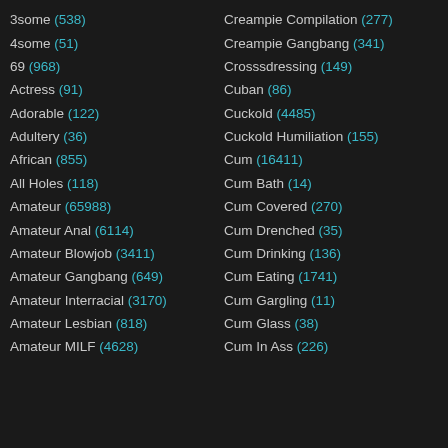3some (538)
4some (51)
69 (968)
Actress (91)
Adorable (122)
Adultery (36)
African (855)
All Holes (118)
Amateur (65988)
Amateur Anal (6114)
Amateur Blowjob (3411)
Amateur Gangbang (649)
Amateur Interracial (3170)
Amateur Lesbian (818)
Amateur MILF (4628)
Creampie Compilation (277)
Creampie Gangbang (341)
Crosssdressing (149)
Cuban (86)
Cuckold (4485)
Cuckold Humiliation (155)
Cum (16411)
Cum Bath (14)
Cum Covered (270)
Cum Drenched (35)
Cum Drinking (136)
Cum Eating (1741)
Cum Gargling (11)
Cum Glass (38)
Cum In Ass (226)